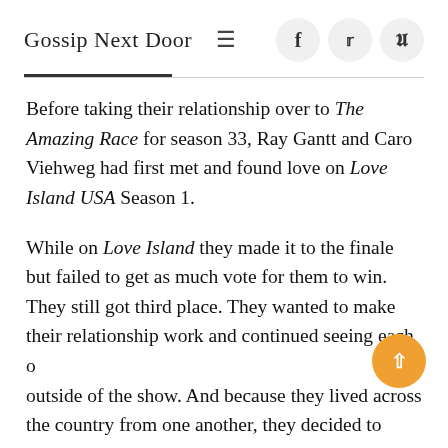Gossip Next Door
Before taking their relationship over to The Amazing Race for season 33, Ray Gantt and Caro Viehweg had first met and found love on Love Island USA Season 1.
While on Love Island they made it to the finale but failed to get as much vote for them to win. They still got third place. They wanted to make their relationship work and continued seeing each other outside of the show. And because they lived across the country from one another, they decided to compete together in The Amazing Race.